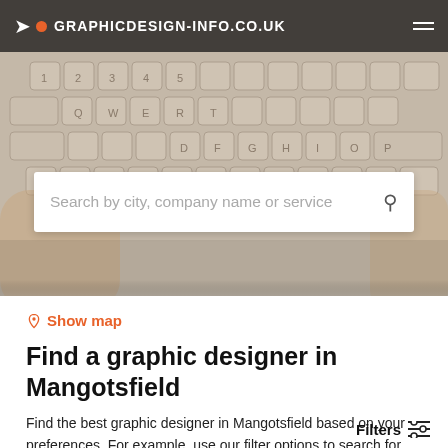GRAPHICDESIGN-INFO.CO.UK
[Figure (screenshot): Hero section with keyboard photo background and search field overlay]
Show map
Find a graphic designer in Mangotsfield
Find the best graphic designer in Mangotsfield based on your preferences. For example, use our filter options to search for websites, business cards or user interface design. In our Terms and Conditions you will find more information about how our search results are generated.
Filters